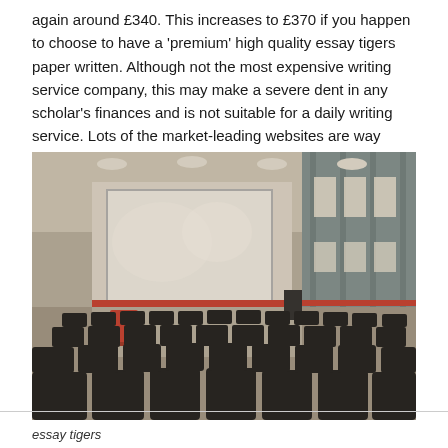again around £340. This increases to £370 if you happen to choose to have a 'premium' high quality essay tigers paper written. Although not the most expensive writing service company, this may make a severe dent in any scholar's finances and is not suitable for a daily writing service. Lots of the market-leading websites are way more reasonably priced.
[Figure (photo): Interior of a large lecture hall or auditorium with rows of dark chairs, a projection screen at the front, recessed ceiling lights, and a red podium/cart near the front left. The room appears empty.]
essay tigers